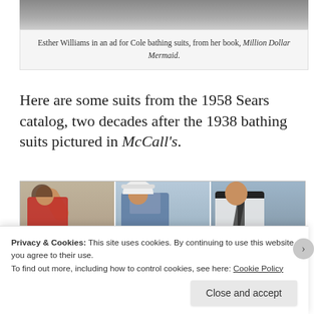[Figure (photo): Top portion of a black and white photo of Esther Williams in an ad for Cole bathing suits]
Esther Williams in an ad for Cole bathing suits, from her book, Million Dollar Mermaid.
Here are some suits from the 1958 Sears catalog, two decades after the 1938 bathing suits pictured in McCall's.
[Figure (photo): Three women in 1958 swimsuits from the Sears catalog posing on a beach: left woman in red patterned one-piece with arm raised, center woman in blue gingham halter style with white hat, right woman in white one-piece with dark trim laughing]
Privacy & Cookies: This site uses cookies. By continuing to use this website, you agree to their use.
To find out more, including how to control cookies, see here: Cookie Policy
Close and accept